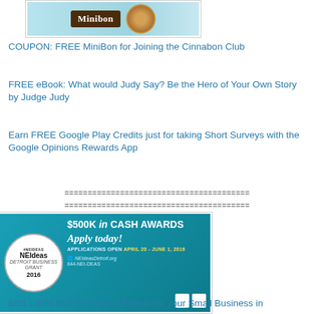[Figure (photo): Cinnabon Minibon advertisement banner with teal background showing cinnamon roll]
COUPON: FREE MiniBon for Joining the Cinnabon Club
FREE eBook: What would Judy Say? Be the Hero of Your Own Story by Judge Judy
Earn FREE Google Play Credits just for taking Short Surveys with the Google Opinions Rewards App
========================================
========================================
[Figure (photo): NEIdeas 2016 $500K in Cash Awards banner - Apply today! Applications open April 20 - June 1, 2016. NEIdeasDetroit.org 844-NEI-DEAS]
6/01 - WIN $10,000 from NEIdeas for your Small Business in